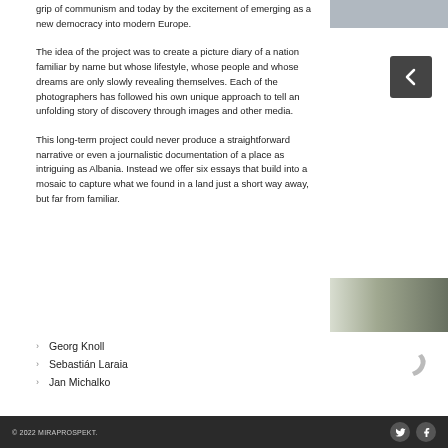[Figure (photo): Partial photograph visible at top right corner, grey sky tones]
grip of communism and today by the excitement of emerging as a new democracy into modern Europe.
[Figure (other): Dark grey square button with left-pointing arrow icon]
The idea of the project was to create a picture diary of a nation familiar by name but whose lifestyle, whose people and whose dreams are only slowly revealing themselves. Each of the photographers has followed his own unique approach to tell an unfolding story of discovery through images and other media.
This long-term project could never produce a straightforward narrative or even a journalistic documentation of a place as intriguing as Albania. Instead we offer six essays that build into a mosaic to capture what we found in a land just a short way away, but far from familiar.
[Figure (photo): Partial photograph at mid-right showing building structure with dark horizontal elements]
[Figure (other): Grey decorative comma or curl punctuation graphic]
Georg Knoll
Sebastián Laraia
Jan Michalko
© 2022 MIRAPROSPEKT.